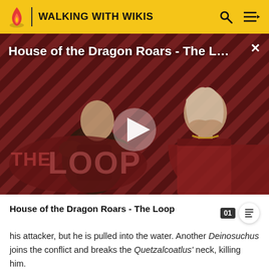WALKING WITH WIKIS
[Figure (screenshot): Video thumbnail for 'House of the Dragon Roars - The Loop' showing two characters in medieval fantasy costumes against a red diagonal striped background with THE LOOP logo and a play button]
House of the Dragon Roars - The Loop
his attacker, but he is pulled into the water. Another Deinosuchus joins the conflict and breaks the Quetzalcoatlus' neck, killing him.